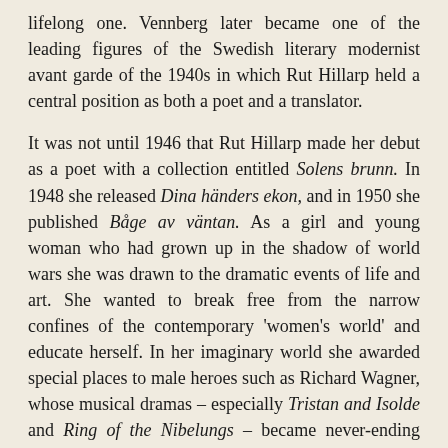lifelong one. Vennberg later became one of the leading figures of the Swedish literary modernist avant garde of the 1940s in which Rut Hillarp held a central position as both a poet and a translator.
It was not until 1946 that Rut Hillarp made her debut as a poet with a collection entitled Solens brunn. In 1948 she released Dina händers ekon, and in 1950 she published Båge av väntan. As a girl and young woman who had grown up in the shadow of world wars she was drawn to the dramatic events of life and art. She wanted to break free from the narrow confines of the contemporary 'women's world' and educate herself. In her imaginary world she awarded special places to male heroes such as Richard Wagner, whose musical dramas – especially Tristan and Isolde and Ring of the Nibelungs – became never-ending sources of inspiration.
When she was 15 Rut Hillarp became engaged to her French teacher, Birger Thorén, who was a lodger in her parents' house. They got married after she had gained her school-leaving certificate in 1932 and moved to Stockholm. Rut Hillarp returned to her studies and began to read English at Stockholm college, and later also added literature and Nordic languages as subjects. After gaining her Bachelor's degree she got her first job as a teacher at